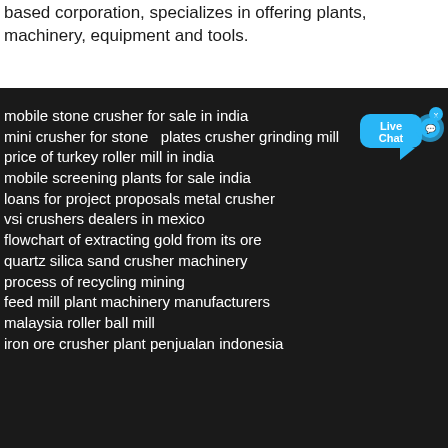based corporation, specializes in offering plants, machinery, equipment and tools.
mobile stone crusher for sale in india
mini crusher for stone  plates crusher grinding mill
price of turkey roller mill in india
mobile screening plants for sale india
loans for project proposals metal crusher
vsi crushers dealers in mexico
flowchart of extracting gold from its ore
quartz silica sand crusher machinery
process of recycling mining
feed mill plant machinery manufacturers
malaysia roller ball mill
iron ore crusher plant penjualan indonesia
[Figure (screenshot): Live Chat widget button in blue with close X button]